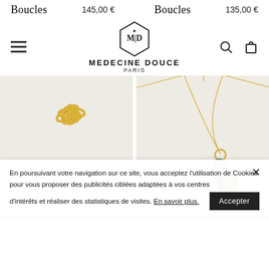Boucles 145,00 € Boucles 135,00 €
[Figure (logo): Medecine Douce Paris logo — hexagonal badge with M|D and botanical motif, brand name MEDECINE DOUCE PARIS below]
[Figure (photo): Gold chain bracelet with oval links and small pearl/charm drop, on light beige background]
[Figure (photo): Gold necklace with chain and multiple pendants including pearl, tiger eye, and green stone, on light beige background]
En poursuivant votre navigation sur ce site, vous acceptez l'utilisation de Cookies pour vous proposer des publicités ciblées adaptées à vos centres d'intérêts et réaliser des statistiques de visites. En savoir plus. Accepter